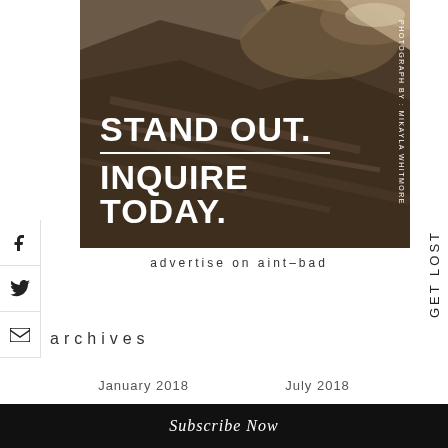[Figure (photo): Aerial or close-up photograph of rocky/muddy terrain with water. Overlaid with bold white text reading 'STAND OUT.' and 'INQUIRE TODAY.' with a horizontal white rule between them. Photo credit reads 'PHOTOGRAPH BY : MIKAYLA WHITMORE' vertically on the right side.]
advertise on aint-bad
archives
January 2018
July 2018
Subscribe Now